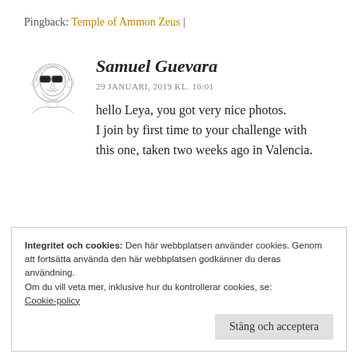Pingback: Temple of Ammon Zeus |
[Figure (illustration): Sketch/avatar illustration of a person with sunglasses and beard]
Samuel Guevara
29 JANUARI, 2019 KL. 16:01
hello Leya, you got very nice photos. I join by first time to your challenge with this one, taken two weeks ago in Valencia.
Integritet och cookies: Den här webbplatsen använder cookies. Genom att fortsätta använda den här webbplatsen godkänner du deras användning. Om du vill veta mer, inklusive hur du kontrollerar cookies, se: Cookie-policy
Stäng och acceptera